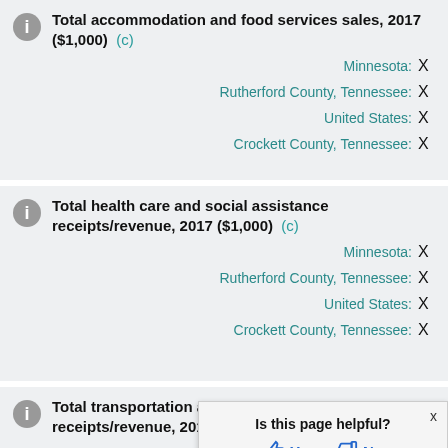Total accommodation and food services sales, 2017 ($1,000) (c)
| Location | Value |
| --- | --- |
| Minnesota: | X |
| Rutherford County, Tennessee: | X |
| United States: | X |
| Crockett County, Tennessee: | X |
Total health care and social assistance receipts/revenue, 2017 ($1,000) (c)
| Location | Value |
| --- | --- |
| Minnesota: | X |
| Rutherford County, Tennessee: | X |
| United States: | X |
| Crockett County, Tennessee: | X |
Total transportation and warehousing receipts/revenue, 2017 ($1,000)
Is this page helpful? Yes No